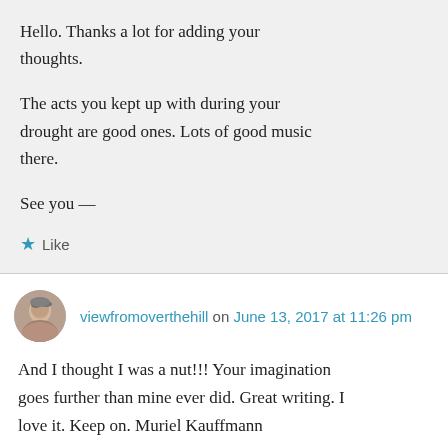Hello. Thanks a lot for adding your thoughts.

The acts you kept up with during your drought are good ones. Lots of good music there.

See you —
★ Like
viewfromoverthehill on June 13, 2017 at 11:26 pm
And I thought I was a nut!!! Your imagination goes further than mine ever did. Great writing. I love it. Keep on. Muriel Kauffmann
★ Liked by 1 person